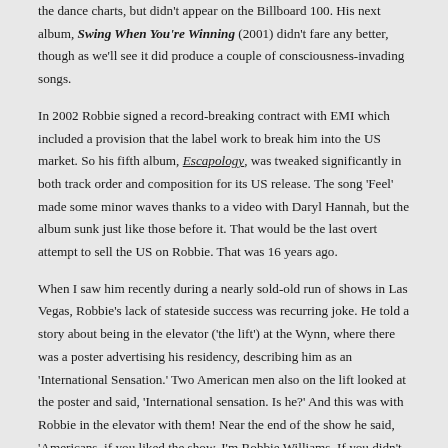the dance charts, but didn't appear on the Billboard 100. His next album, Swing When You're Winning (2001) didn't fare any better, though as we'll see it did produce a couple of consciousness-invading songs.
In 2002 Robbie signed a record-breaking contract with EMI which included a provision that the label work to break him into the US market. So his fifth album, Escapology, was tweaked significantly in both track order and composition for its US release. The song 'Feel' made some minor waves thanks to a video with Daryl Hannah, but the album sunk just like those before it. That would be the last overt attempt to sell the US on Robbie. That was 16 years ago.
When I saw him recently during a nearly sold-old run of shows in Las Vegas, Robbie's lack of stateside success was recurring joke. He told a story about being in the elevator ('the lift') at the Wynn, where there was a poster advertising his residency, describing him as an 'International Sensation.' Two American men also on the lift looked at the poster and said, 'International sensation. Is he?' And this was with Robbie in the elevator with them! Near the end of the show he said, 'Americans, if you liked the show, I'm Robbie Williams. If you didn't, I'm Liam Gallagher.'
So, as follows is my modest attempt to educate (and perhaps persuade) those of you who haven't given in to the charms of Mr. Robbie Williams. I'll present